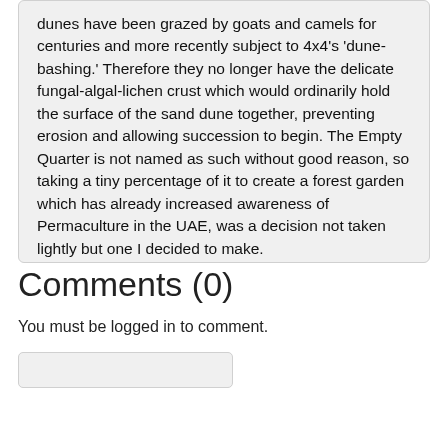dunes have been grazed by goats and camels for centuries and more recently subject to 4x4's 'dune-bashing.' Therefore they no longer have the delicate fungal-algal-lichen crust which would ordinarily hold the surface of the sand dune together, preventing erosion and allowing succession to begin. The Empty Quarter is not named as such without good reason, so taking a tiny percentage of it to create a forest garden which has already increased awareness of Permaculture in the UAE, was a decision not taken lightly but one I decided to make.
Comments (0)
You must be logged in to comment.